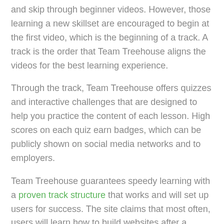and skip through beginner videos. However, those learning a new skillset are encouraged to begin at the first video, which is the beginning of a track. A track is the order that Team Treehouse aligns the videos for the best learning experience.
Through the track, Team Treehouse offers quizzes and interactive challenges that are designed to help you practice the content of each lesson. High scores on each quiz earn badges, which can be publicly shown on social media networks and to employers.
Team Treehouse guarantees speedy learning with a proven track structure that works and will set up users for success. The site claims that most often, users will learn how to build websites after a month, or about 45 hours of lesson time.
That being said, users are encouraged to take notes